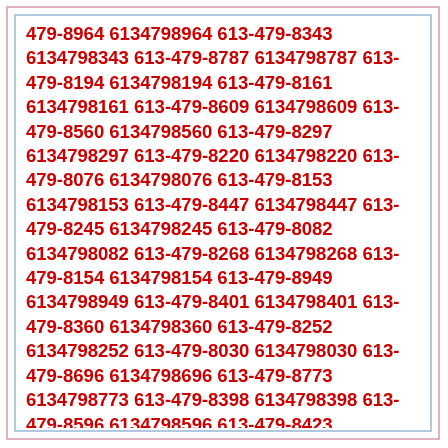479-8964 6134798964 613-479-8343 6134798343 613-479-8787 6134798787 613-479-8194 6134798194 613-479-8161 6134798161 613-479-8609 6134798609 613-479-8560 6134798560 613-479-8297 6134798297 613-479-8220 6134798220 613-479-8076 6134798076 613-479-8153 6134798153 613-479-8447 6134798447 613-479-8245 6134798245 613-479-8082 6134798082 613-479-8268 6134798268 613-479-8154 6134798154 613-479-8949 6134798949 613-479-8401 6134798401 613-479-8360 6134798360 613-479-8252 6134798252 613-479-8030 6134798030 613-479-8696 6134798696 613-479-8773 6134798773 613-479-8398 6134798398 613-479-8596 6134798596 613-479-8423 6134798423 613-479-8306 6134798306 613-479-8537 6134798537 613-479-8316 6134798316 613-479-8248 6134798248 613-479-8192 6134798192 613-479-8791 6134798791 613-479-8620 6134798620 613-479-8592 6134798592 613-479-8339